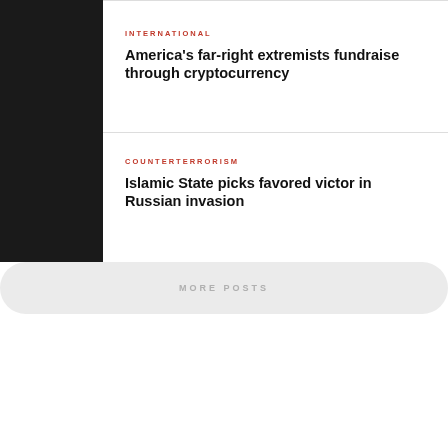INTERNATIONAL
America's far-right extremists fundraise through cryptocurrency
COUNTERTERRORISM
Islamic State picks favored victor in Russian invasion
MORE POSTS